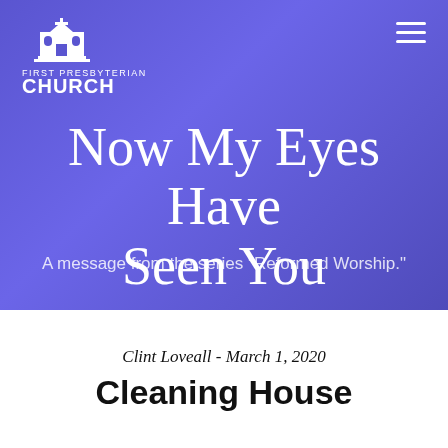[Figure (logo): First Presbyterian Church logo with church building illustration and text]
Now My Eyes Have Seen You
A message from the series "Reformed Worship."
Clint Loveall - March 1, 2020
Cleaning House